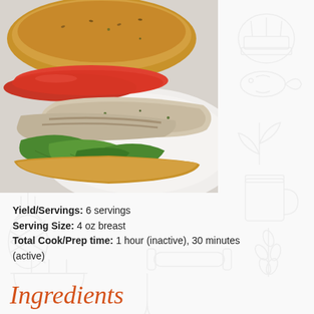[Figure (photo): A grilled chicken sandwich on a ciabatta roll with tomato slices and green basil/spinach leaves, served on a white plate.]
Yield/Servings: 6 servings
Serving Size: 4 oz breast
Total Cook/Prep time: 1 hour (inactive), 30 minutes (active)
Ingredients